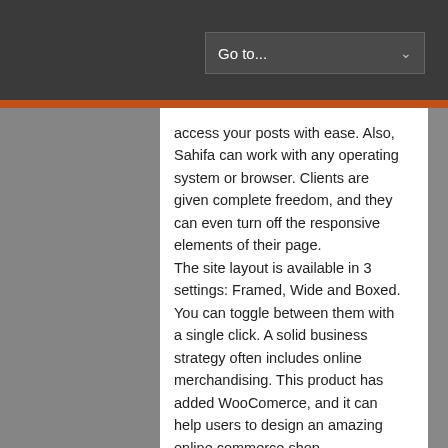Go to...
Thankfully, this theme has solved all compatibility and resizing issues. Customers who prefer smart phones or tablets can now access your posts with ease. Also, Sahifa can work with any operating system or browser. Clients are given complete freedom, and they can even turn off the responsive elements of their page.
The site layout is available in 3 settings: Framed, Wide and Boxed. You can toggle between them with a single click. A solid business strategy often includes online merchandising. This product has added WooComerce, and it can help users to design an amazing online commerce shop. WooCommerce is one of the most prolific plugins in the world, given that it is used by thousands of personal and company pages. Popularity can only increase, if you strive to include as many users as possible. Sahifa can accommodate foreign site visitors, as it is fully translatable.